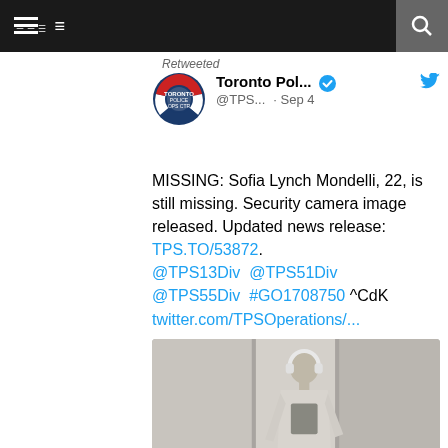Navigation bar with menu and search
Retweeted
[Figure (logo): Toronto Police Service Operations Centre logo - circular badge with red, white and blue design]
Toronto Pol... @TPS... · Sep 4
MISSING: Sofia Lynch Mondelli, 22, is still missing. Security camera image released. Updated news release: TPS.TO/53872. @TPS13Div  @TPS51Div @TPS55Div  #GO1708750 ^CdK twitter.com/TPSOperations/...
[Figure (photo): Security camera image of a person wearing a grey graphic sweatshirt, black pants, and white headphones, standing in what appears to be a building corridor or hallway]
1   77